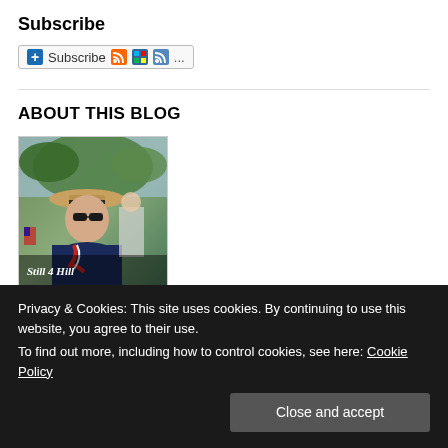Subscribe
[Figure (screenshot): Subscribe button widget with RSS icons and ellipsis]
ABOUT THIS BLOG
[Figure (photo): Photo of a woman wearing a hat and sunglasses outdoors, with text overlay reading 'Still 4 Hill']
This private blog is about Hillary Clinton's work. It is intended to support,
Privacy & Cookies: This site uses cookies. By continuing to use this website, you agree to their use.
To find out more, including how to control cookies, see here: Cookie Policy
Close and accept